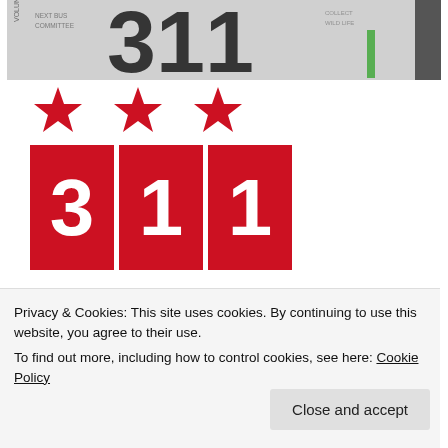[Figure (photo): Close-up photo of a 311 sign with text visible including 'NEXT BUS' and other transit/city service text, with green accent]
[Figure (logo): DC 311 District of Columbia logo: three red stars above three red boxes containing white digits 3, 1, 1]
DISTRICT OF COLUMBIA
Privacy & Cookies: This site uses cookies. By continuing to use this website, you agree to their use.
To find out more, including how to control cookies, see here: Cookie Policy
Close and accept